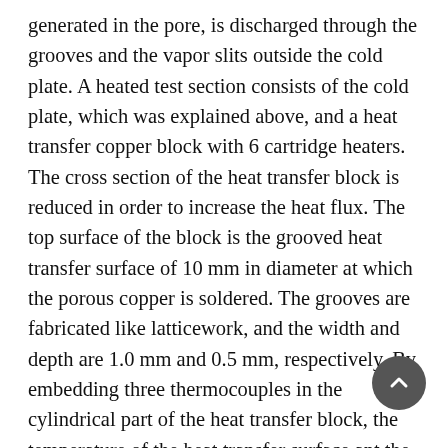generated in the pore, is discharged through the grooves and the vapor slits outside the cold plate. A heated test section consists of the cold plate, which was explained above, and a heat transfer copper block with 6 cartridge heaters. The cross section of the heat transfer block is reduced in order to increase the heat flux. The top surface of the block is the grooved heat transfer surface of 10 mm in diameter at which the porous copper is soldered. The grooves are fabricated like latticework, and the width and depth are 1.0 mm and 0.5 mm, respectively. By embedding three thermocouples in the cylindrical part of the heat transfer block, the temperature of the heat transfer surface ant the heat flux are extrapolated in a steady state. In this experiment, the flow rate is 0.5 L/min and the flow velocity at each nozzle is 0.27 m/s. The liquid inlet temperature is 60 °C. The experimental results prove that, in a single-phase heat transfer regime, the